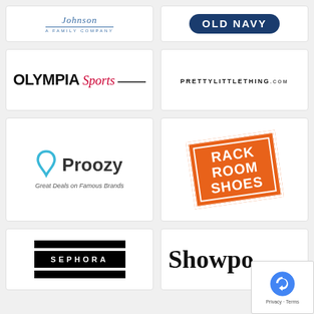[Figure (logo): Johnson - A Family Company logo, blue script text with underline]
[Figure (logo): Old Navy logo, white bold text on dark navy rounded rectangle]
[Figure (logo): Olympia Sports logo, bold black OLYMPIA with red italic Sports script]
[Figure (logo): PrettyLittleThing.com logo in small uppercase letters]
[Figure (logo): Proozy logo with blue P icon and tagline Great Deals on Famous Brands]
[Figure (logo): Rack Room Shoes logo, orange rotated box with white bold text]
[Figure (logo): Sephora logo, white text on black bars]
[Figure (logo): Showpo logo, large bold serif text, partially visible]